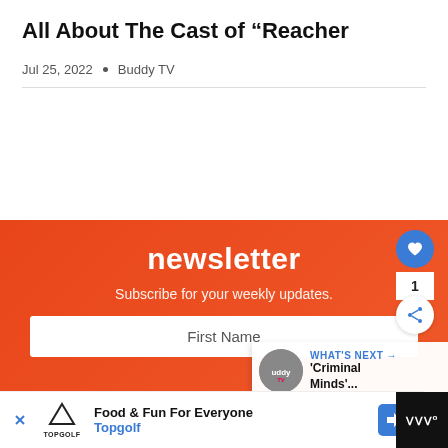All About The Cast of “Reacher
Jul 25, 2022 • Buddy TV
[Figure (infographic): Newsletter signup widget on orange/red gradient background. Contains title 'newsletter', subtitle 'Subscribe for your weekly weekly updates.', First Name input field, and Your Email Address input field. Social share buttons (heart, share) on right side. 'What's Next' overlay showing 'Criminal Minds'...' with Buddy TV logo.]
[Figure (infographic): Advertisement bar at the bottom: Topgolf logo with 'Food & Fun For Everyone' text, blue navigation arrow icon, and black video player panel on far right.]